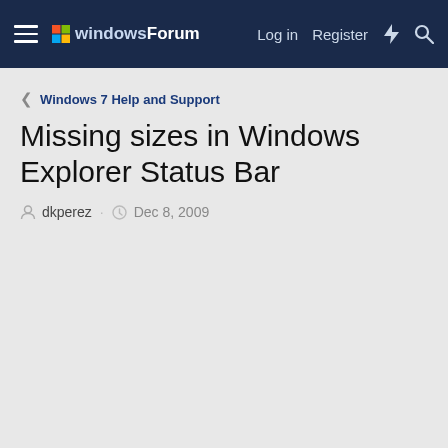windowsForum — Log in  Register
< Windows 7 Help and Support
Missing sizes in Windows Explorer Status Bar
dkperez · Dec 8, 2009